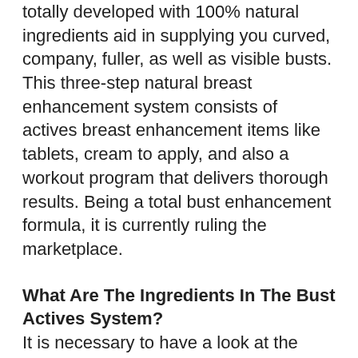totally developed with 100% natural ingredients aid in supplying you curved, company, fuller, as well as visible busts. This three-step natural breast enhancement system consists of actives breast enhancement items like tablets, cream to apply, and also a workout program that delivers thorough results. Being a total bust enhancement formula, it is currently ruling the marketplace.
What Are The Ingredients In The Bust Actives System?
It is necessary to have a look at the ingredient checklist if you require an ideal pill. All the components utilized in the formula of the Bust Active system are 100% natural and also reliable.